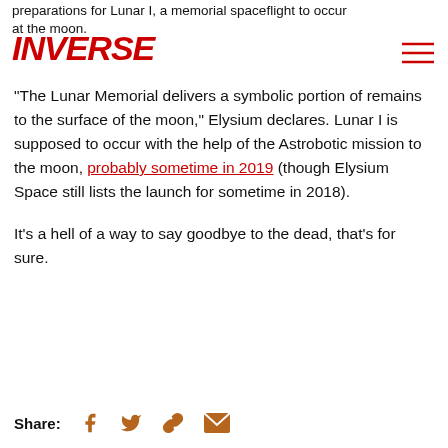preparations for Lunar I, a memorial spaceflight to occur at the moon.
[Figure (logo): INVERSE logo in red bold italic letters]
“The Lunar Memorial delivers a symbolic portion of remains to the surface of the moon,” Elysium declares. Lunar I is supposed to occur with the help of the Astrobotic mission to the moon, probably sometime in 2019 (though Elysium Space still lists the launch for sometime in 2018).
It’s a hell of a way to say goodbye to the dead, that’s for sure.
Share: [Facebook] [Twitter] [Link] [Email]